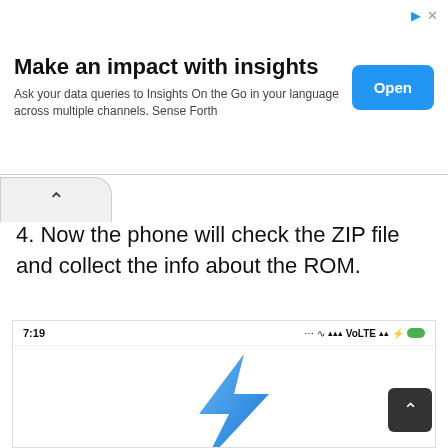[Figure (screenshot): Advertisement banner: 'Make an impact with insights' with Open button and ad icons]
4. Now the phone will check the ZIP file and collect the info about the ROM.
[Figure (screenshot): Phone screenshot showing status bar with time 7:19, signal icons, VoLTE, and a blue lightning bolt logo on white background]